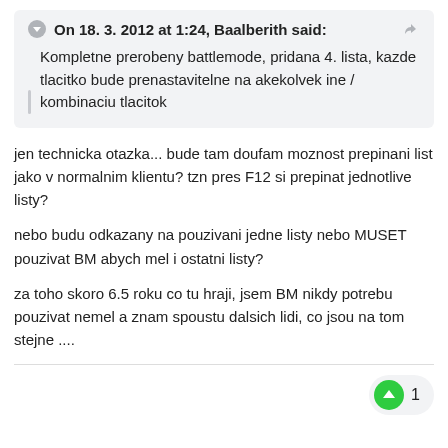On 18. 3. 2012 at 1:24, Baalberith said:
Kompletne prerobeny battlemode, pridana 4. lista, kazde tlacitko bude prenastavitelne na akekolvek ine / kombinaciu tlacitok
jen technicka otazka... bude tam doufam moznost prepinani list jako v normalnim klientu? tzn pres F12 si prepinat jednotlive listy?
nebo budu odkazany na pouzivani jedne listy nebo MUSET pouzivat BM abych mel i ostatni listy?
za toho skoro 6.5 roku co tu hraji, jsem BM nikdy potrebu pouzivat nemel a znam spoustu dalsich lidi, co jsou na tom stejne ....